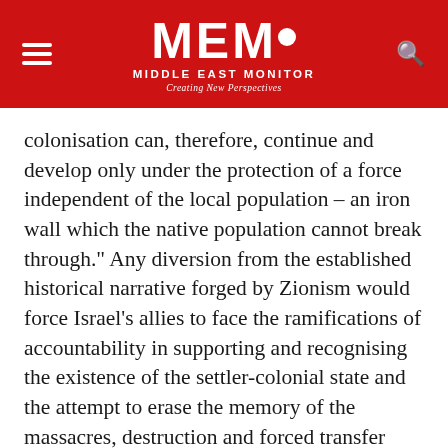MEMO MIDDLE EAST MONITOR — Creating New Perspectives
colonisation can, therefore, continue and develop only under the protection of a force independent of the local population – an iron wall which the native population cannot break through." Any diversion from the established historical narrative forged by Zionism would force Israel's allies to face the ramifications of accountability in supporting and recognising the existence of the settler-colonial state and the attempt to erase the memory of the massacres, destruction and forced transfer perpetrated against Palestinians during the 1948 Nakba (Catastrophe).